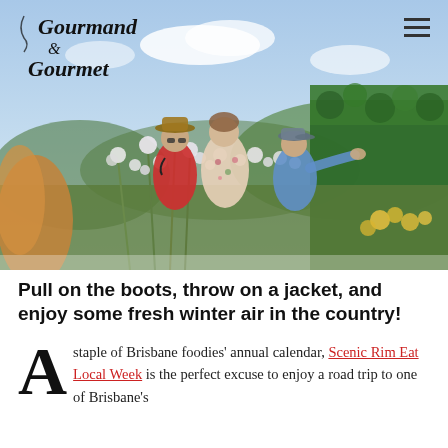[Figure (photo): Three people walking through a field of wildflowers on a sunny day. One person wears a red shirt and hat, another wears a floral dress, and a third wears a blue shirt. The background shows green hills and a blue sky. A handwritten-style 'Gourmand & Gourmet' logo is overlaid at the top left, and a hamburger menu icon at the top right.]
Pull on the boots, throw on a jacket, and enjoy some fresh winter air in the country!
A staple of Brisbane foodies' annual calendar, Scenic Rim Eat Local Week is the perfect excuse to enjoy a road trip to one of Brisbane's